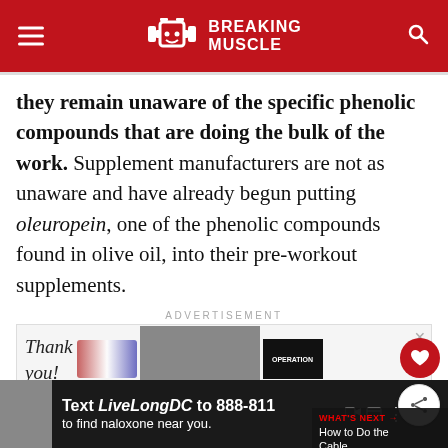BREAKING MUSCLE
they remain unaware of the specific phenolic compounds that are doing the bulk of the work. Supplement manufacturers are not as unaware and have already begun putting oleuropein, one of the phenolic compounds found in olive oil, into their pre-workout supplements.
[Figure (screenshot): Advertisement banner showing a 'Thank you' message with military/firefighter imagery and Operation branding, with an × close button.]
[Figure (screenshot): What's Next panel showing 'How to Do the Cable...' article thumbnail.]
[Figure (screenshot): Bottom advertisement bar: Text LiveLongDC to 888-811 to find naloxone near you.]